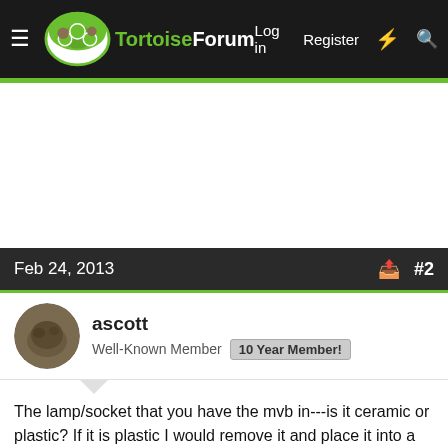TortoiseForum  Log in  Register
[Figure (screenshot): Advertisement area, white background]
Feb 24, 2013  #2
ascott
Well-Known Member  10 Year Member!
The lamp/socket that you have the mvb in---is it ceramic or plastic? If it is plastic I would remove it and place it into a ceramic socket--those, as well as any, bulb get really hot when left on continuously .....
I just want to mention  you may want to evaluate the overall safety of that water dish....it has edges that can create a roll over in a young/baby tort....one of the greatest bottom/prone...